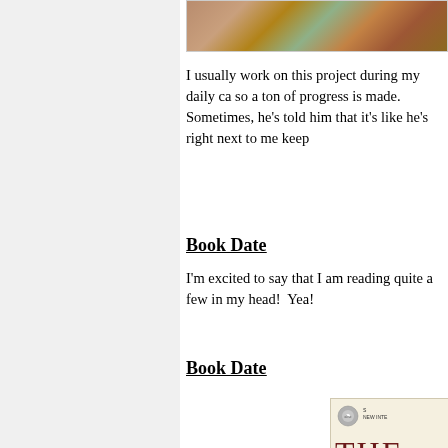[Figure (photo): Partial photo strip at the top showing colorful scene, cropped]
I usually work on this project during my daily ca so a ton of progress is made.  Sometimes, he's told him that it's like he's right next to me keep
Book Date
I'm excited to say that I am reading quite a few in my head!  Yea!
Book Date
[Figure (photo): Partial book cover showing 'THE' in large dark red letters, with 'NEW INTE...' text at top, disc logo, and subtitle 'THE BIBLE AS ONE CONTE...' on a cream/beige background with dark bottom]